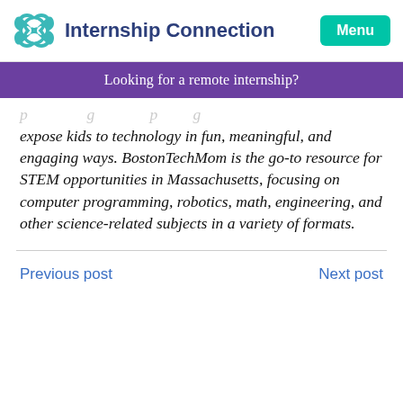Internship Connection
Looking for a remote internship?
expose kids to technology in fun, meaningful, and engaging ways. BostonTechMom is the go-to resource for STEM opportunities in Massachusetts, focusing on computer programming, robotics, math, engineering, and other science-related subjects in a variety of formats.
Previous post
Next post